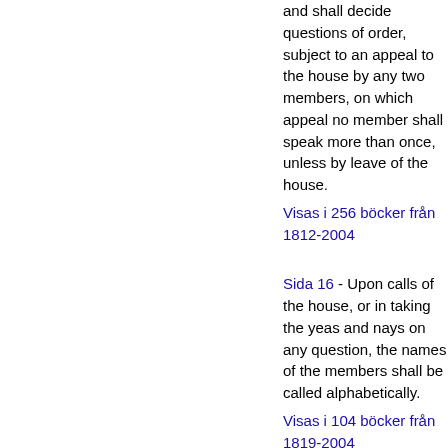and shall decide questions of order, subject to an appeal to the house by any two members, on which appeal no member shall speak more than once, unless by leave of the house.
Visas i 256 böcker från 1812-2004
Sida 16 - Upon calls of the house, or in taking the yeas and nays on any question, the names of the members shall be called alphabetically.
Visas i 104 böcker från 1819-2004
Sida 7 - After a motion is stated by the Speaker, or